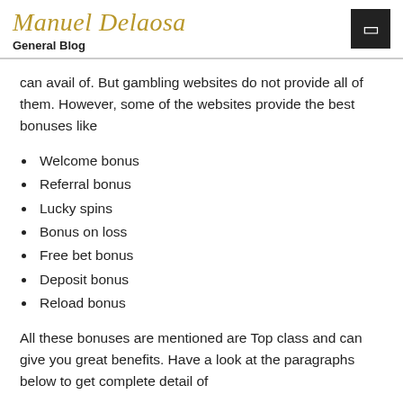Manuel Delaosa
General Blog
can avail of. But gambling websites do not provide all of them. However, some of the websites provide the best bonuses like
Welcome bonus
Referral bonus
Lucky spins
Bonus on loss
Free bet bonus
Deposit bonus
Reload bonus
All these bonuses are mentioned are Top class and can give you great benefits. Have a look at the paragraphs below to get complete detail of